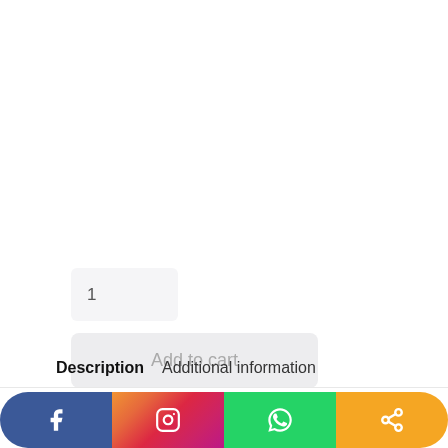1
Add to cart
Add To Wishlist
Description
Additional information
[Figure (infographic): Social share bar with Facebook, Instagram, WhatsApp, and Share buttons]